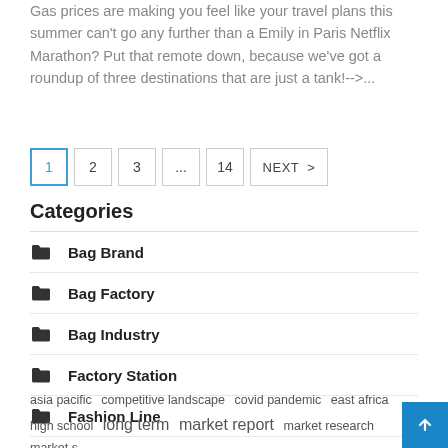Gas prices are making you feel like your travel plans this summer can't go any further than a Emily in Paris Netflix Marathon? Put that remote down, because we've got a roundup of three destinations that are just a tank!-->...
1
2
3
...
14
NEXT >
Categories
Bag Brand
Bag Factory
Bag Industry
Factory Station
Fashion Line
asia pacific  competitive landscape  covid pandemic  east africa  high school  long term  market report  market research  market s